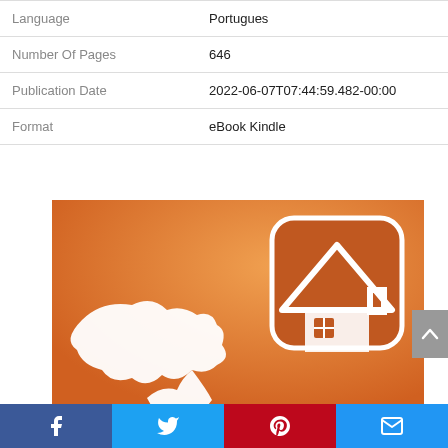| Field | Value |
| --- | --- |
| Language | Portugues |
| Number Of Pages | 646 |
| Publication Date | 2022-06-07T07:44:59.482-00:00 |
| Format | eBook Kindle |
[Figure (illustration): Orange gradient background with a white house/home icon app button (rounded square with roof and window) in the upper right, and a white silhouette of a map shape (appears to be Brazil) in the lower left. Partial image cut off at bottom.]
[Figure (infographic): Social media share bar at the bottom with four buttons: Facebook (blue), Twitter (light blue), Pinterest (red), and Email/Mail (blue).]